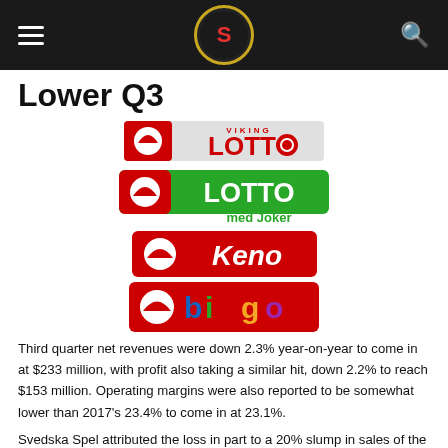[Navigation header with hamburger menu, logo, and search icon]
Lower Q3
[Figure (logo): Viking Lotto logo - red background with white lottery ball icon and 'VIKING LOTTO' text in red/white]
[Figure (logo): Lotto med Joker logo - green background with white lottery ball icon and 'LOTTO' text, 'med Joker' below in green]
[Figure (logo): Keno logo - red background with white lottery ball icon and 'Keno' text in white/green]
[Figure (logo): Bingo logo - red background with lottery ball icon and 'bingo' text in colorful letters]
Third quarter net revenues were down 2.3% year-on-year to come in at $233 million, with profit also taking a similar hit, down 2.2% to reach $153 million. Operating margins were also reported to be somewhat lower than 2017's 23.4% to come in at 23.1%.
Svedska Spel attributed the loss in part to a 20% slump in sales of the